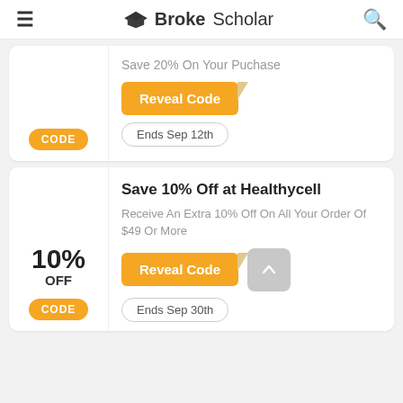BrokeScholar
Save 20% On Your Puchase
Reveal Code
Ends Sep 12th
CODE
10% OFF
Save 10% Off at Healthycell
Receive An Extra 10% Off On All Your Order Of $49 Or More
Reveal Code
Ends Sep 30th
CODE